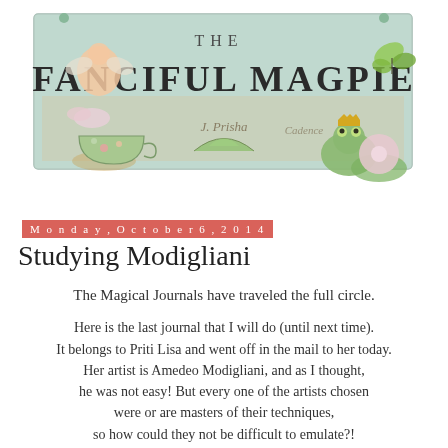[Figure (illustration): Blog header banner for 'The Fanciful Magpie' with vintage decorative elements including a cherub, teacup, frog with crown, lily pads, flowers, and butterfly on a mint green background with cursive script.]
Monday, October 6, 2014
Studying Modigliani
The Magical Journals have traveled the full circle.
Here is the last journal that I will do (until next time). It belongs to Priti Lisa and went off in the mail to her today. Her artist is Amedeo Modigliani, and as I thought, he was not easy! But every one of the artists chosen were or are masters of their techniques, so how could they not be difficult to emulate?!